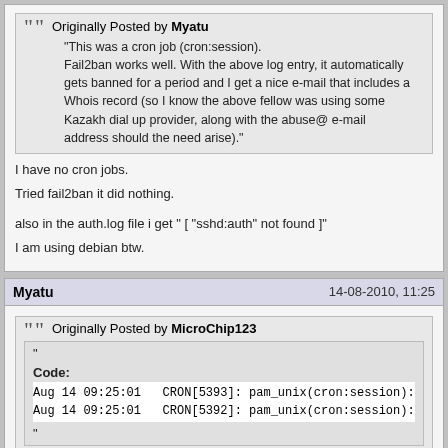Originally Posted by Myatu
"This was a cron job (cron:session). Fail2ban works well. With the above log entry, it automatically gets banned for a period and I get a nice e-mail that includes a Whois record (so I know the above fellow was using some Kazakh dial up provider, along with the abuse@ e-mail address should the need arise)."
I have no cron jobs.
Tried fail2ban it did nothing.
also in the auth.log file i get " [ "sshd:auth" not found ]"
I am using debian btw.
Myatu    14-08-2010, 11:25
Originally Posted by MicroChip123
"
Code:
Aug 14 09:25:01   CRON[5393]: pam_unix(cron:session): ses
Aug 14 09:25:01   CRON[5392]: pam_unix(cron:session): ses
"
This was a cron job (cron:session). Look for sshd:auth instead, like these:
Code:
Aug 13 08:33:04 bethany sshd[2558]: Did not receive identifica
Aug 13 08:33:52 bethany sshd[2559]: pam_unix(sshd:auth): authe
Aug 13 08:33:54 bethany sshd[2559]: Failed password for root f